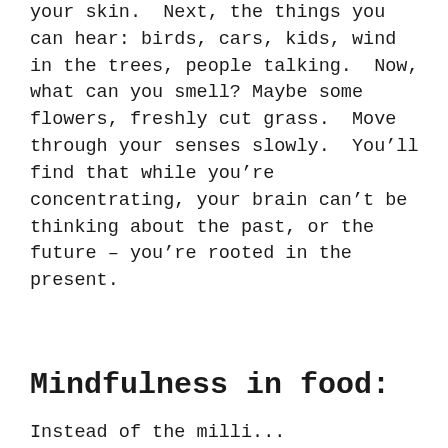your skin.  Next, the things you can hear: birds, cars, kids, wind in the trees, people talking.  Now, what can you smell? Maybe some flowers, freshly cut grass.  Move through your senses slowly.  You'll find that while you're concentrating, your brain can't be thinking about the past, or the future – you're rooted in the present.
Mindfulness in food:
Instead of the milli...